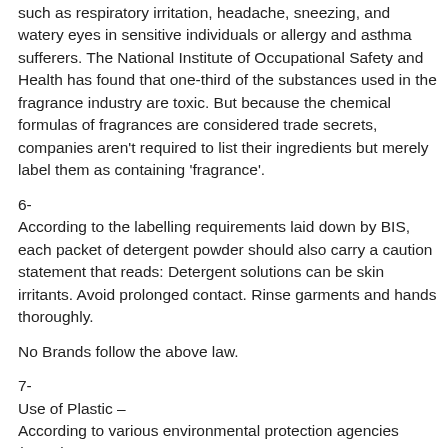such as respiratory irritation, headache, sneezing, and watery eyes in sensitive individuals or allergy and asthma sufferers. The National Institute of Occupational Safety and Health has found that one-third of the substances used in the fragrance industry are toxic. But because the chemical formulas of fragrances are considered trade secrets, companies aren't required to list their ingredients but merely label them as containing 'fragrance'.
6-
According to the labelling requirements laid down by BIS, each packet of detergent powder should also carry a caution statement that reads: Detergent solutions can be skin irritants. Avoid prolonged contact. Rinse garments and hands thoroughly.
No Brands follow the above law.
7-
Use of Plastic –
According to various environmental protection agencies (EPAs)